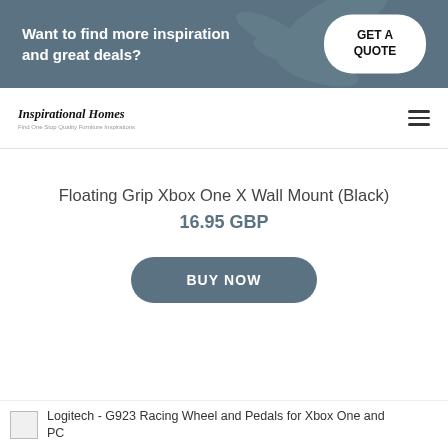[Figure (screenshot): Promotional banner with dark teal background, decorative leaf silhouettes, bold white text and a white rounded 'GET A QUOTE' button.]
Want to find more inspiration and great deals?
GET A QUOTE
[Figure (logo): Inspirational Homes logo with italic serif font and small tagline beneath.]
Inspirational Homes
Find One Stop Quality Furniture Inspirations
Floating Grip Xbox One X Wall Mount (Black)
16.95 GBP
BUY NOW
Logitech - G923 Racing Wheel and Pedals for Xbox One and PC